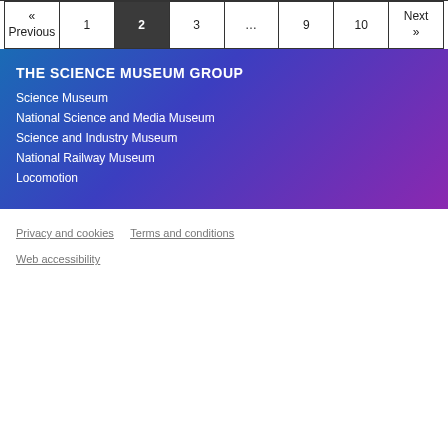| « Previous | 1 | 2 | 3 | ... | 9 | 10 | Next » |
| --- | --- | --- | --- | --- | --- | --- | --- |
THE SCIENCE MUSEUM GROUP
Science Museum
National Science and Media Museum
Science and Industry Museum
National Railway Museum
Locomotion
Privacy and cookies   Terms and conditions   Web accessibility